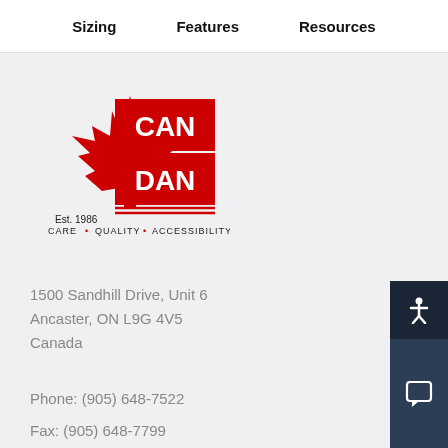Sizing   Features   Resources
[Figure (logo): Can-Dan logo with maple leaf, Est. 1986, CARE • QUALITY • ACCESSIBILITY]
1500 Sandhill Drive, Unit 6
Ancaster, ON L9G 4V5
Canada
Phone: (905) 648-7522
Fax: (905) 648-7799
Email: info@can-dan.com